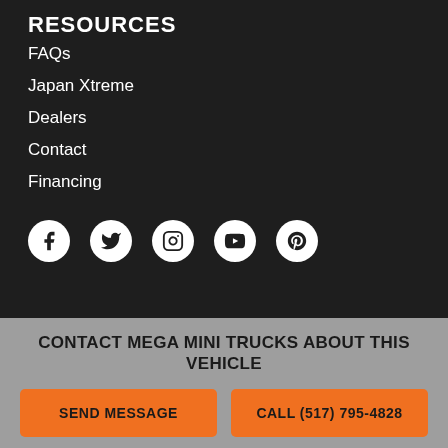RESOURCES
FAQs
Japan Xtreme
Dealers
Contact
Financing
[Figure (infographic): Social media icons: Facebook, Twitter, Instagram, YouTube, Pinterest — white circles on dark background]
CONTACT MEGA MINI TRUCKS ABOUT THIS VEHICLE
SEND MESSAGE
CALL (517) 795-4828